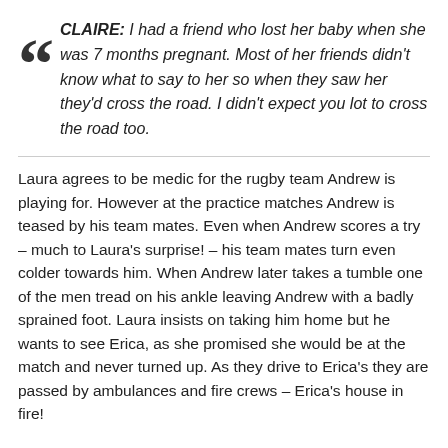CLAIRE: I had a friend who lost her baby when she was 7 months pregnant. Most of her friends didn't know what to say to her so when they saw her they'd cross the road. I didn't expect you lot to cross the road too.
Laura agrees to be medic for the rugby team Andrew is playing for. However at the practice matches Andrew is teased by his team mates. Even when Andrew scores a try – much to Laura's surprise! – his team mates turn even colder towards him. When Andrew later takes a tumble one of the men tread on his ankle leaving Andrew with a badly sprained foot. Laura insists on taking him home but he wants to see Erica, as she promised she would be at the match and never turned up. As they drive to Erica's they are passed by ambulances and fire crews – Erica's house in fire!
Andrew and Laura watch in horror as the house crumbles to the ground. As the fire crew hold Andrew back from going inside the house, Erica arrives! Andrew asks her why she didn't tell anyone